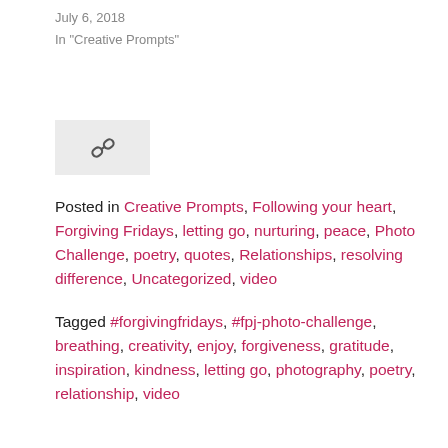July 6, 2018
In "Creative Prompts"
[Figure (illustration): Chain link icon on a light grey background]
Posted in Creative Prompts, Following your heart, Forgiving Fridays, letting go, nurturing, peace, Photo Challenge, poetry, quotes, Relationships, resolving difference, Uncategorized, video
Tagged #forgivingfridays, #fpj-photo-challenge, breathing, creativity, enjoy, forgiveness, gratitude, inspiration, kindness, letting go, photography, poetry, relationship, video